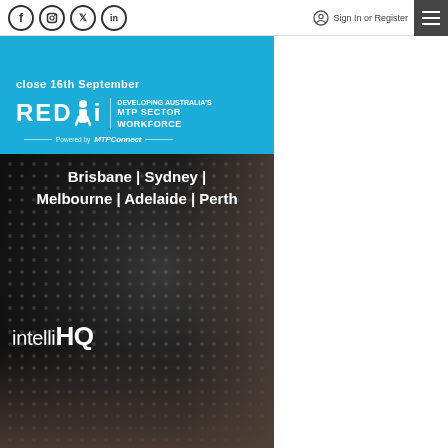Social media icons: Facebook, Instagram, Twitter, LinkedIn | Sign In or Register | Hamburger menu
[Figure (screenshot): REDi MTP Sector Workforce banner powered by MTPConnect. Blue top section with REDi logo and 'DEVELOPING AUSTRALIA'S MTP SECTOR WORKFORCE'. Black bottom section with dot pattern showing 'Brisbane | Sydney | Melbourne | Adelaide | Perth' cities text and 'intelliHQ' logo with people in lab coats in background.]